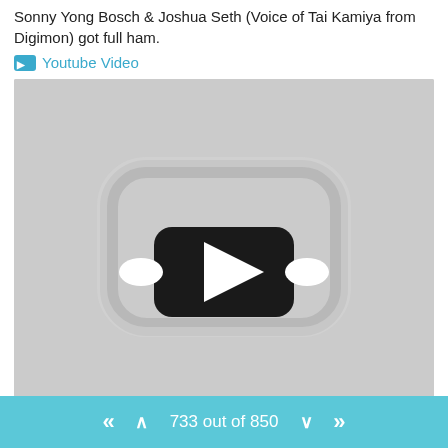Sonny Yong Bosch & Joshua Seth (Voice of Tai Kamiya from Digimon) got full ham.
Youtube Video
[Figure (screenshot): YouTube video embed thumbnail showing a grayscale YouTube play button logo on a light gray background]
733 out of 850